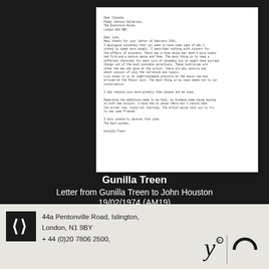[Figure (photo): Framed typewritten letter on cream/off-white paper, shown against a black background. The letter is from Gunilla Treen to John Houston, dated 19/02/1974.]
Gunilla Treen
Letter from Gunilla Treen to John Houston
19/02/1974  (AM19)
44a Pentonville Road, Islington,
London, N1 9BY
+ 44 (0)20 7806 2500,